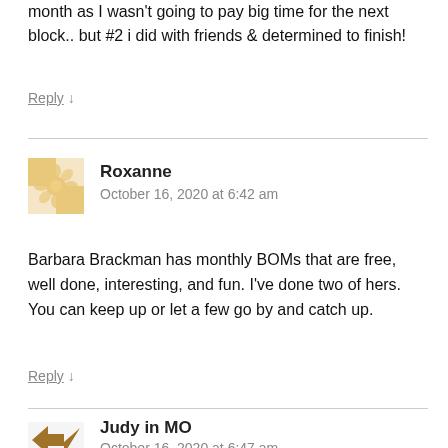month as I wasn't going to pay big time for the next block.. but #2 i did with friends & determined to finish!
Reply ↓
Roxanne
October 16, 2020 at 6:42 am
Barbara Brackman has monthly BOMs that are free, well done, interesting, and fun. I've done two of hers. You can keep up or let a few go by and catch up.
Reply ↓
Judy in MO
October 16, 2020 at 6:47 am